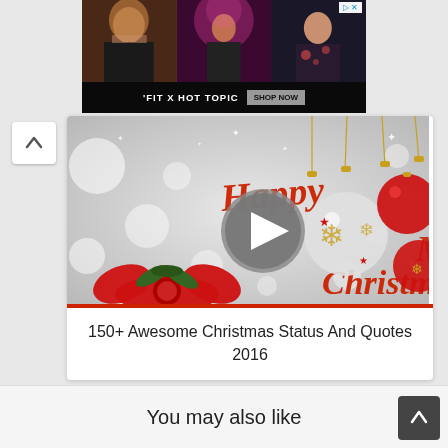[Figure (photo): Advertisement banner for 'FIT X HOT TOPIC' with three photos of women and a SHOP NOW button, with D> X badge in top right]
[Figure (photo): Christmas greeting card image showing 'Happy Merry Christmas' text in red, decorative ornament balls hanging, red bow with pine leaves, snowy bokeh background, with a play button overlay]
150+ Awesome Christmas Status And Quotes 2016
You may also like